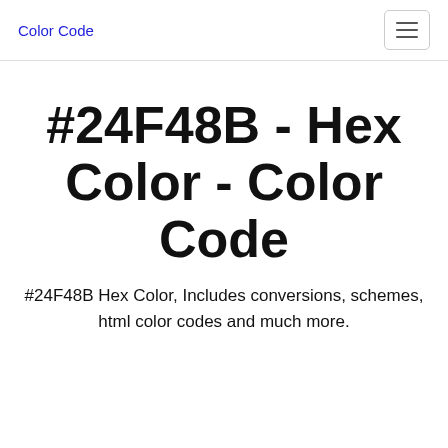Color Code
#24F48B - Hex Color - Color Code
#24F48B Hex Color, Includes conversions, schemes, html color codes and much more.